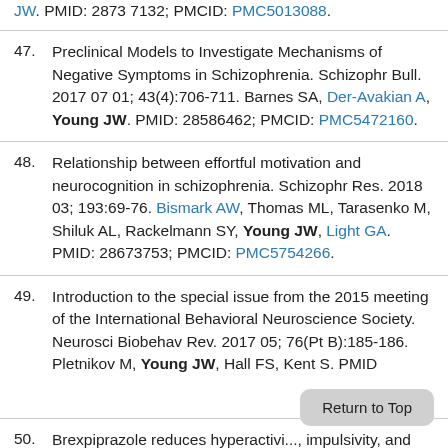JW. PMID: 2873 7132; PMCID: PMC5013088.
47. Preclinical Models to Investigate Mechanisms of Negative Symptoms in Schizophrenia. Schizophr Bull. 2017 07 01; 43(4):706-711. Barnes SA, Der-Avakian A, Young JW. PMID: 28586462; PMCID: PMC5472160.
48. Relationship between effortful motivation and neurocognition in schizophrenia. Schizophr Res. 2018 03; 193:69-76. Bismark AW, Thomas ML, Tarasenko M, Shiluk AL, Rackelmann SY, Young JW, Light GA. PMID: 28673753; PMCID: PMC5754266.
49. Introduction to the special issue from the 2015 meeting of the International Behavioral Neuroscience Society. Neurosci Biobehav Rev. 2017 05; 76(Pt B):185-186. Pletnikov M, Young JW, Hall FS, Kent S. PMID...
50. Brexpiprazole reduces hyperactivity, impulsivity, and risk-preference behavior in